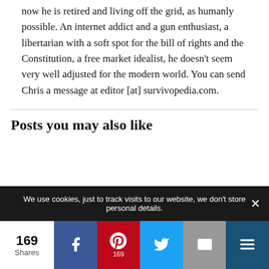now he is retired and living off the grid, as humanly possible. An internet addict and a gun enthusiast, a libertarian with a soft spot for the bill of rights and the Constitution, a free market idealist, he doesn't seem very well adjusted for the modern world. You can send Chris a message at editor [at] survivopedia.com.
Posts you may also like
We use cookies, just to track visits to our website, we don't store personal details.
169 Shares